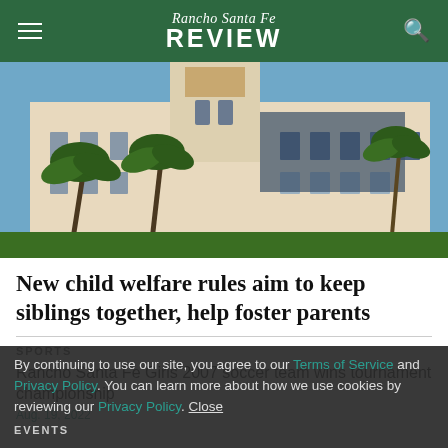Rancho Santa Fe REVIEW
[Figure (photo): Exterior of a large white government or civic building with palm trees in foreground under a blue sky]
New child welfare rules aim to keep siblings together, help foster parents
SPORTS
Rancho Santa Fe Girls 2007 soccer team wins tournament championship
Aug. 19, 2022
By continuing to use our site, you agree to our Terms of Service and Privacy Policy. You can learn more about how we use cookies by reviewing our Privacy Policy. Close
EVENTS